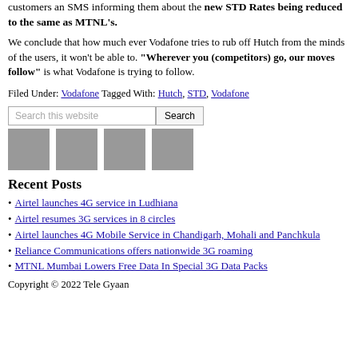customers an SMS informing them about the new STD Rates being reduced to the same as MTNL's.
We conclude that how much ever Vodafone tries to rub off Hutch from the minds of the users, it won't be able to. "Wherever you (competitors) go, our moves follow" is what Vodafone is trying to follow.
Filed Under: Vodafone Tagged With: Hutch, STD, Vodafone
[Figure (screenshot): Search bar with input 'Search this website' and Search button, followed by four grey social media icon placeholders]
Recent Posts
Airtel launches 4G service in Ludhiana
Airtel resumes 3G services in 8 circles
Airtel launches 4G Mobile Service in Chandigarh, Mohali and Panchkula
Reliance Communications offers nationwide 3G roaming
MTNL Mumbai Lowers Free Data In Special 3G Data Packs
Copyright © 2022 Tele Gyaan